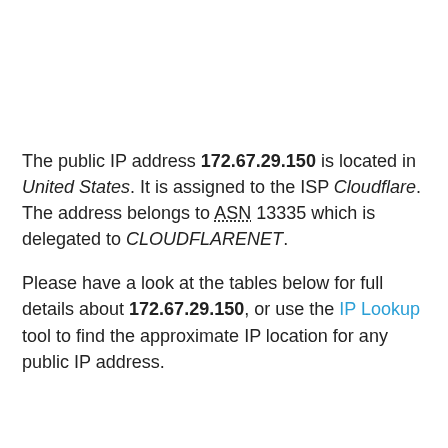The public IP address 172.67.29.150 is located in United States. It is assigned to the ISP Cloudflare. The address belongs to ASN 13335 which is delegated to CLOUDFLARENET.
Please have a look at the tables below for full details about 172.67.29.150, or use the IP Lookup tool to find the approximate IP location for any public IP address.